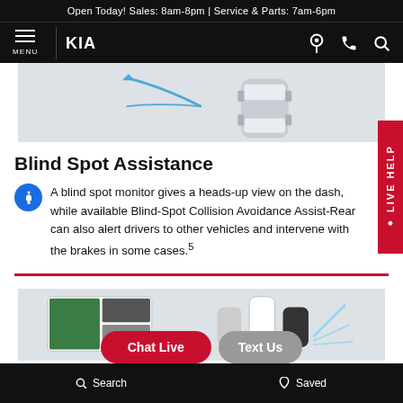Open Today! Sales: 8am-8pm | Service & Parts: 7am-6pm
MENU | KIA logo | location icon | phone icon | search icon
[Figure (illustration): Top-down diagram of a car with blue curved arrow lines indicating blind spot detection zones]
Blind Spot Assistance
A blind spot monitor gives a heads-up view on the dash, while available Blind-Spot Collision Avoidance Assist-Rear can also alert drivers to other vehicles and intervene with the brakes in some cases.5
[Figure (illustration): Bird's-eye view camera display showing multiple vehicles with blind spot detection arcs, alongside a multi-camera screen display]
Search | Saved | Chat Live | Text Us